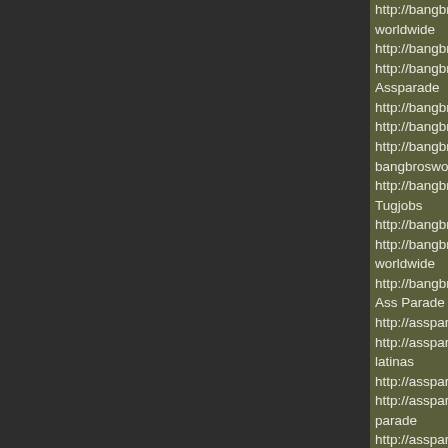http://bangbros-review.com/bang-bros-worldwide
http://bangbros-review.com/bang-bros
http://bangbros-review.com/Bangbros Assparade
http://bangbros-review.com/Free-Ban
http://bangbros-review.com/bangbros
http://bangbros-review.com/bangbros bangbrosworldwide
http://bangbros-review.com/Bangbros Tugjobs
http://bangbros-review.com/Girls-Ban
http://bangbros-review.com/bangbros-worldwide
http://bangbros-review.com/bang-bros Ass Parade
http://assparade-review.com/
http://assparade-review.com/ass-para latinas
http://assparade-review.com/white-as
http://assparade-review.com/ass-auro parade
http://assparade-review.com/ass-diam